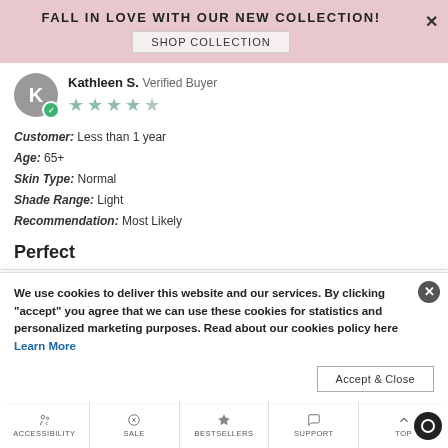FALL IN LOVE WITH OUR NEW COLLECTION!
SHOP COLLECTION
Kathleen S. Verified Buyer
4 star rating
Customer: Less than 1 year
Age: 65+
Skin Type: Normal
Shade Range: Light
Recommendation: Most Likely
Perfect
We use cookies to deliver this website and our services. By clicking "accept" you agree that we can use these cookies for statistics and personalized marketing purposes. Read about our cookies policy here Learn More
Accept & Close
ACCESSIBILITY | SALE | BESTSELLERS | SUPPORT | TOP